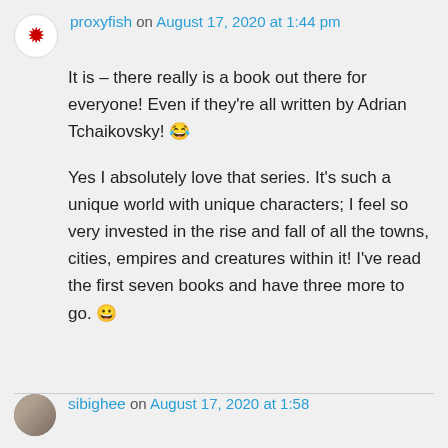proxyfish on August 17, 2020 at 1:44 pm
It is – there really is a book out there for everyone! Even if they're all written by Adrian Tchaikovsky! 😂
Yes I absolutely love that series. It's such a unique world with unique characters; I feel so very invested in the rise and fall of all the towns, cities, empires and creatures within it! I've read the first seven books and have three more to go. 😀
sibighee on August 17, 2020 at 1:58